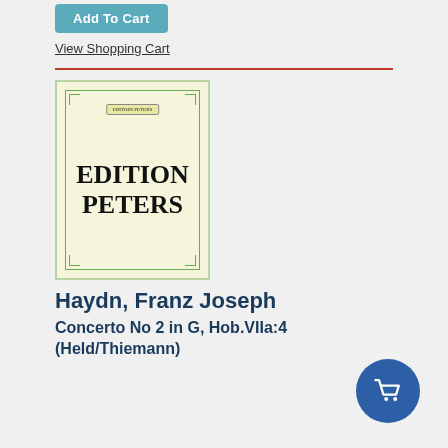[Figure (other): Blue 'Add To Cart' button]
View Shopping Cart
[Figure (illustration): Edition Peters book cover with green border, logo at top, bold text 'EDITION PETERS' in center on cream/light yellow background]
Haydn, Franz Joseph
Concerto No 2 in G, Hob.VIIa:4 (Held/Thiemann)